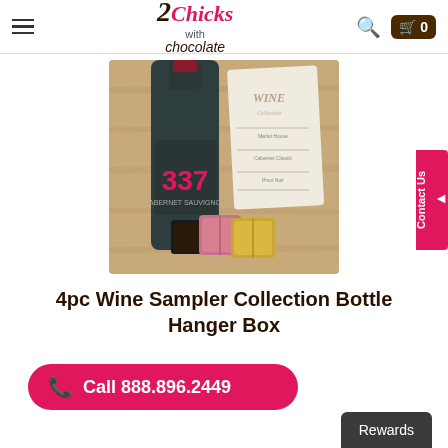2 Chicks with chocolate — navigation header with search and cart
[Figure (photo): Product photo showing a bottle of 337 Cabernet Sauvignon wine with a wine menu card and chocolate truffles wrapped in pink and gold foil on a wooden surface]
4pc Wine Sampler Collection Bottle Hanger Box
$ 14.95
Call 888.896.2449
Rewards